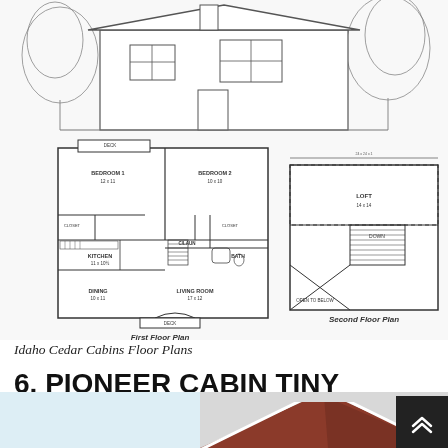[Figure (engineering-diagram): Idaho Cedar Cabins architectural floor plans showing exterior elevation view at top, First Floor Plan (left) with bedroom 1, bedroom 2, kitchen, dining, living room, entry, closets, and bath; Second Floor Plan (right) with loft and stairs. Black and white architectural drawings.]
Idaho Cedar Cabins Floor Plans
6. PIONEER CABIN TINY HOUSE DESIGN
[Figure (photo): Bottom portion of a Pioneer Cabin Tiny House Design image showing a peaked roof with brown/red shingles against a light background, partially visible.]